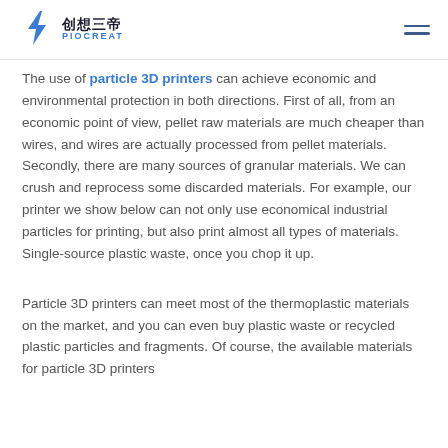创想三帝 PIOCREAT
The use of particle 3D printers can achieve economic and environmental protection in both directions. First of all, from an economic point of view, pellet raw materials are much cheaper than wires, and wires are actually processed from pellet materials. Secondly, there are many sources of granular materials. We can crush and reprocess some discarded materials. For example, our printer we show below can not only use economical industrial particles for printing, but also print almost all types of materials. Single-source plastic waste, once you chop it up.
Particle 3D printers can meet most of the thermoplastic materials on the market, and you can even buy plastic waste or recycled plastic particles and fragments. Of course, the available materials for particle 3D printers